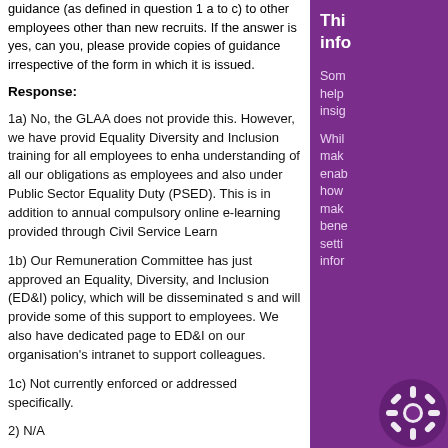guidance (as defined in question 1 a to c) to other employees other than new recruits. If the answer is yes, can you, please provide copies of guidance irrespective of the form in which it is issued.
Response:
1a) No, the GLAA does not provide this. However, we have provided Equality Diversity and Inclusion training for all employees to enhance understanding of all our obligations as employees and also under the Public Sector Equality Duty (PSED). This is in addition to annual compulsory online e-learning provided through Civil Service Learn
1b) Our Remuneration Committee has just approved an Equality, Diversity, and Inclusion (ED&I) policy, which will be disseminated soon and will provide some of this support to employees. We also have a dedicated page to ED&I on our organisation's intranet to support colleagues.
1c) Not currently enforced or addressed specifically.
2) N/A
3) All employees had to attend mandatory training on ED&I in Autumn 2021.
This info
Some help insig While mak enab how mak bene setti infor